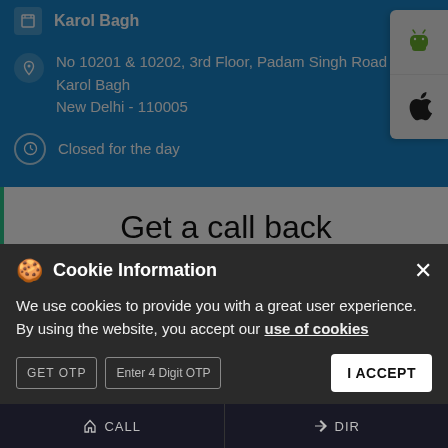Karol Bagh
No 10201 & 10202, 3rd Floor, Padam Singh Road
Karol Bagh
New Delhi - 110005
Closed for the day
Get a call back
Your Name*
Mobile No*
Cookie Information
We use cookies to provide you with a great user experience. By using the website, you accept our use of cookies
GET OTP
Enter 4 Digit OTP
I ACCEPT
CALL
DIR